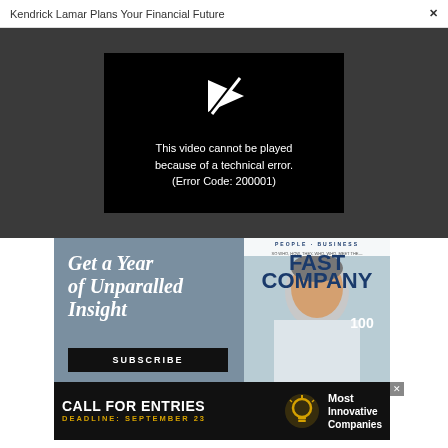Kendrick Lamar Plans Your Financial Future
[Figure (screenshot): Video player showing error: 'This video cannot be played because of a technical error. (Error Code: 200001)' on black background, inside dark gray overlay.]
This video cannot be played because of a technical error. (Error Code: 200001)
[Figure (infographic): Fast Company magazine subscription advertisement. Text reads 'Get a Year of Unparalled Insight' with a SUBSCRIBE button, and a Fast Company magazine cover showing a woman with short gray hair.]
[Figure (infographic): Banner ad: CALL FOR ENTRIES. DEADLINE: SEPTEMBER 23. Most Innovative Companies. Light bulb icon.]